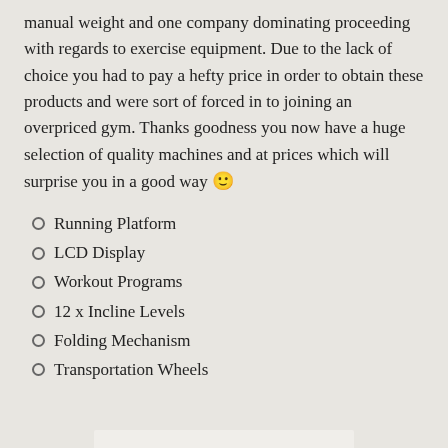manual weight and one company dominating proceeding with regards to exercise equipment. Due to the lack of choice you had to pay a hefty price in order to obtain these products and were sort of forced in to joining an overpriced gym. Thanks goodness you now have a huge selection of quality machines and at prices which will surprise you in a good way 🙂
Running Platform
LCD Display
Workout Programs
12 x Incline Levels
Folding Mechanism
Transportation Wheels